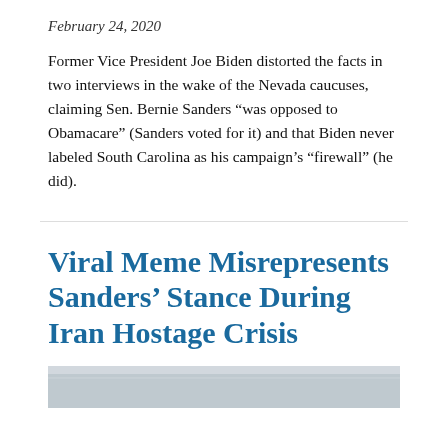February 24, 2020
Former Vice President Joe Biden distorted the facts in two interviews in the wake of the Nevada caucuses, claiming Sen. Bernie Sanders “was opposed to Obamacare” (Sanders voted for it) and that Biden never labeled South Carolina as his campaign’s “firewall” (he did).
Viral Meme Misrepresents Sanders’ Stance During Iran Hostage Crisis
[Figure (photo): Partial photo strip at bottom of page, appears to be a building interior or exterior, light gray/blue tones]